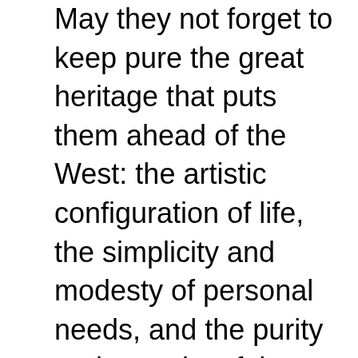May they not forget to keep pure the great heritage that puts them ahead of the West: the artistic configuration of life, the simplicity and modesty of personal needs, and the purity and serenity of the Japanese soul.